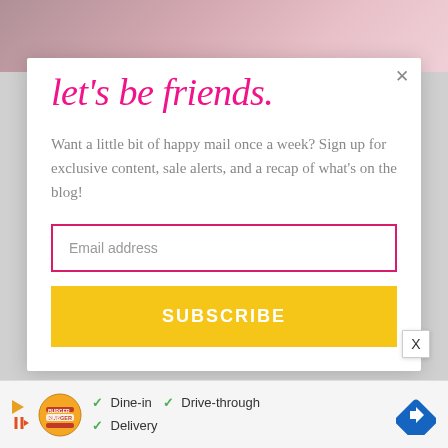[Figure (photo): Top photo strip showing a pink drink in a cup, partially cropped]
let's be friends.
Want a little bit of happy mail once a week? Sign up for exclusive content, sale alerts, and a recap of what's on the blog!
Email address
SUBSCRIBE
[Figure (infographic): Burger King advertisement banner with Dine-in, Drive-through, Delivery options and navigation arrow icon]